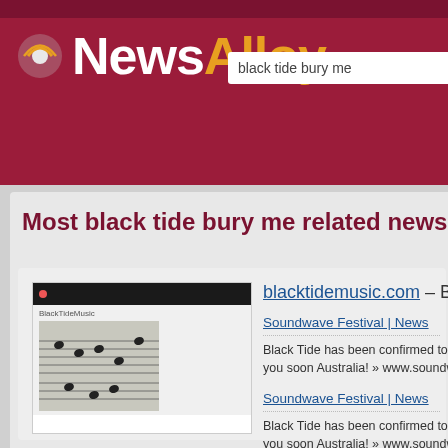NewsAlloy
black tide bury me
Most black tide bury me related news
[Figure (screenshot): Thumbnail screenshot of blacktidemusic.com website showing sheet music image]
blacktidemusic.com – Black Tide
Soundwave Festival | News
Black Tide has been confirmed to play the Soundwave you soon Australia! » www.soundwavefestival.com
Soundwave Festival | News
Black Tide has been confirmed to play the Soundwave you soon Australia! » www.soundwavefestival.com